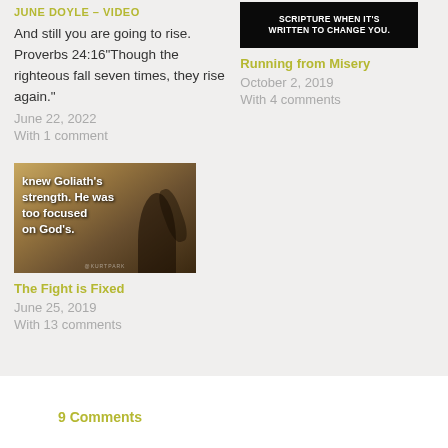JUNE DOYLE – VIDEO
And still you are going to rise. Proverbs 24:16"Though the righteous fall seven times, they rise again."
June 22, 2022
With 1 comment
[Figure (photo): Black image with white bold text: SCRIPTURE WHEN IT'S WRITTEN TO CHANGE YOU.]
Running from Misery
October 2, 2019
With 4 comments
[Figure (photo): Image showing silhouette of person (David?) against warm golden/brown background with text overlay: knew Goliath's strength. He was too focused on God's.]
The Fight is Fixed
June 25, 2019
With 13 comments
9 Comments